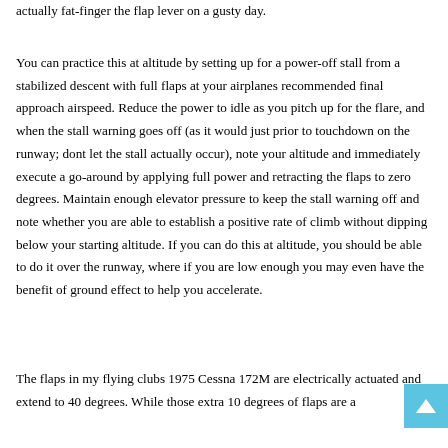actually fat-finger the flap lever on a gusty day.
You can practice this at altitude by setting up for a power-off stall from a stabilized descent with full flaps at your airplanes recommended final approach airspeed. Reduce the power to idle as you pitch up for the flare, and when the stall warning goes off (as it would just prior to touchdown on the runway; dont let the stall actually occur), note your altitude and immediately execute a go-around by applying full power and retracting the flaps to zero degrees. Maintain enough elevator pressure to keep the stall warning off and note whether you are able to establish a positive rate of climb without dipping below your starting altitude. If you can do this at altitude, you should be able to do it over the runway, where if you are low enough you may even have the benefit of ground effect to help you accelerate.
The flaps in my flying clubs 1975 Cessna 172M are electrically actuated and extend to 40 degrees. While those extra 10 degrees of flaps are a